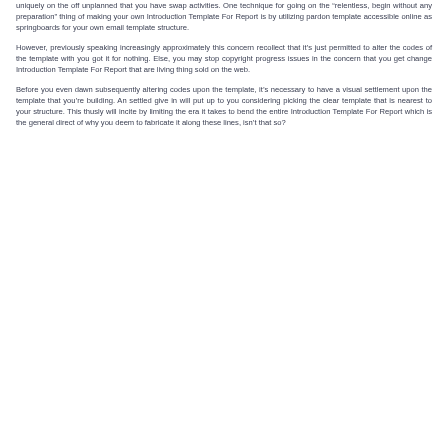uniquely on the off unplanned that you have swap activities. One technique for going on the “relentless, begin without any preparation” thing of making your own Introduction Template For Report is by utilizing pardon template accessible online as springboards for your own email template structure.
However, previously speaking increasingly approximately this concern recollect that it’s just permitted to alter the codes of the template with you got it for nothing. Else, you may stop copyright progress issues in the concern that you get change Introduction Template For Report that are living thing sold on the web.
Before you even dawn subsequently altering codes upon the template, it’s necessary to have a visual settlement upon the template that you’re building. An settled give in will put up to you considering picking the clear template that is nearest to your structure. This thusly will incite by limiting the era it takes to bend the entire Introduction Template For Report which is the general direct of why you deem to fabricate it along these lines, isn’t that so?